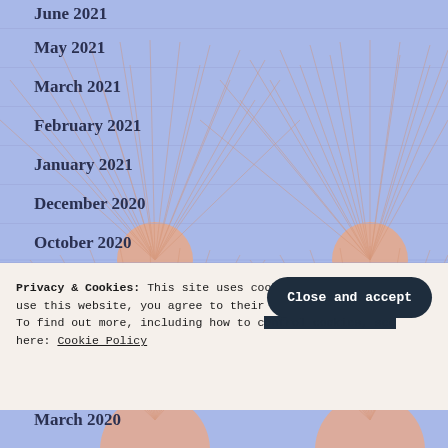June 2021
May 2021
March 2021
February 2021
January 2021
December 2020
October 2020
September 2020
August 2020
July 2020
Privacy & Cookies: This site uses cookies. By continuing to use this website, you agree to their use. To find out more, including how to c... here: Cookie Policy
March 2020